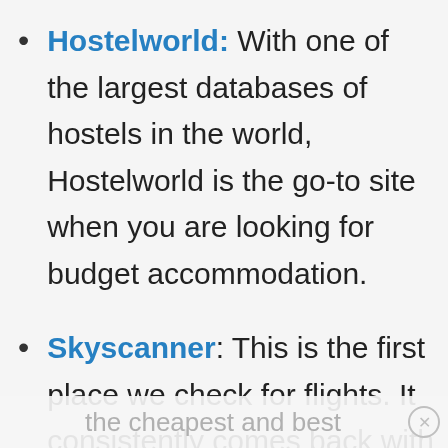Hostelworld: With one of the largest databases of hostels in the world, Hostelworld is the go-to site when you are looking for budget accommodation.
Skyscanner: This is the first place we check for flights. It consistently comes back with the cheapest and best